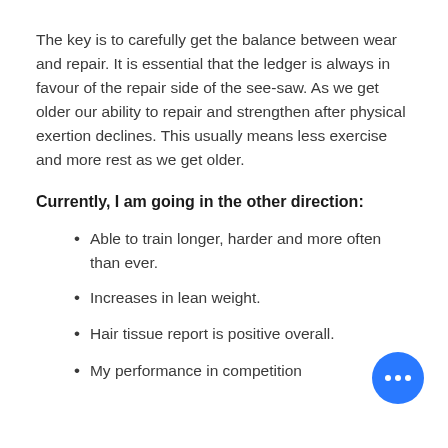The key is to carefully get the balance between wear and repair. It is essential that the ledger is always in favour of the repair side of the see-saw. As we get older our ability to repair and strengthen after physical exertion declines. This usually means less exercise and more rest as we get older.
Currently, I am going in the other direction:
Able to train longer, harder and more often than ever.
Increases in lean weight.
Hair tissue report is positive overall.
My performance in competition